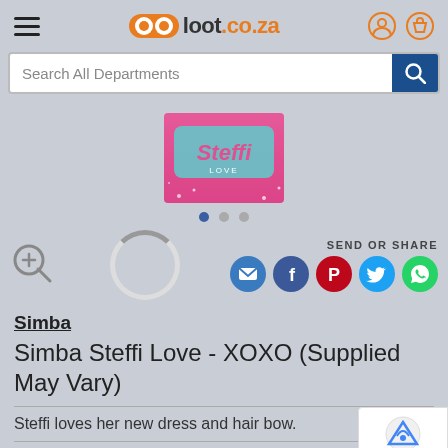[Figure (screenshot): loot.co.za website header with hamburger menu, logo, user and cart icons, and search bar]
[Figure (photo): Steffi Love product box image (partial, showing pink box with Steffi Love branding)]
SEND OR SHARE
[Figure (infographic): Social share icons: email, Facebook, Pinterest, Twitter, WhatsApp]
Simba
Simba Steffi Love - XOXO (Supplied May Vary)
Steffi loves her new dress and hair bow.
NOT AVAILABLE